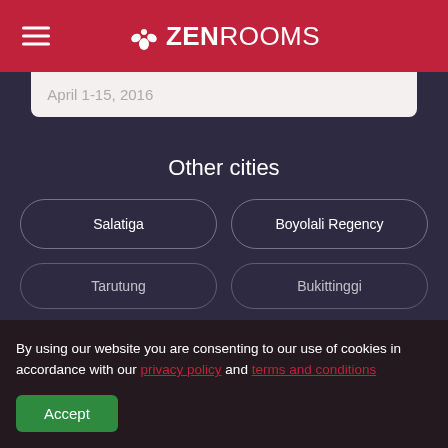ZEN ROOMS
April 1-15, 2016
Other cities
Salatiga
Boyolali Regency
Tarutung
Bukittinggi
By using our website you are consenting to our use of cookies in accordance with our privacy policy and terms and conditions
Accept